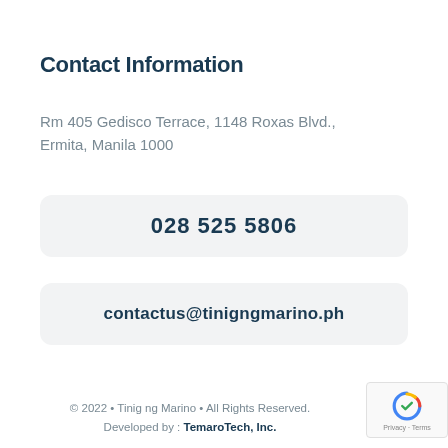Contact Information
Rm 405 Gedisco Terrace, 1148 Roxas Blvd.,
Ermita, Manila 1000
028 525 5806
contactus@tinigngmarino.ph
© 2022 • Tinig ng Marino • All Rights Reserved.
Developed by : TemaroTech, Inc.